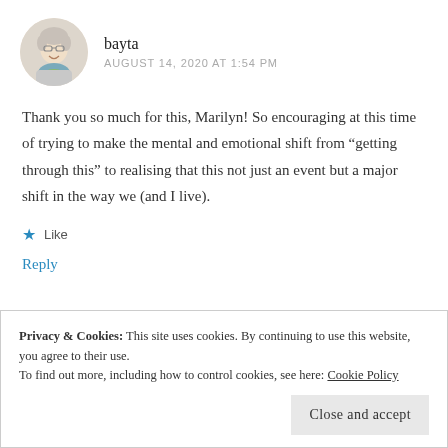[Figure (photo): Avatar photo of a woman with short gray hair and glasses, wearing a scarf]
bayta
AUGUST 14, 2020 AT 1:54 PM
Thank you so much for this, Marilyn! So encouraging at this time of trying to make the mental and emotional shift from “getting through this” to realising that this not just an event but a major shift in the way we (and I live).
Like
Reply
Privacy & Cookies: This site uses cookies. By continuing to use this website, you agree to their use.
To find out more, including how to control cookies, see here: Cookie Policy
Close and accept
So beautiful. Thanks for the reminder.